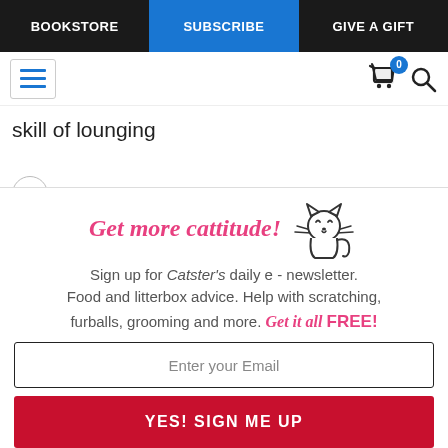BOOKSTORE | SUBSCRIBE | GIVE A GIFT
skill of lounging
[Figure (infographic): Newsletter signup promotional block with cat illustration and 'Get more cattitude!' heading, email input field, and YES! SIGN ME UP button]